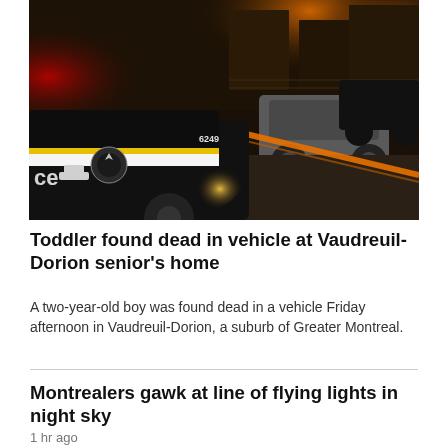[Figure (photo): Night scene showing a police car with number 6249 in the foreground, orange police tape stretched across a driveway, a silver car parked in background, orange street lights illuminating the scene, red lights on the left side.]
Toddler found dead in vehicle at Vaudreuil-Dorion senior's home
A two-year-old boy was found dead in a vehicle Friday afternoon in Vaudreuil-Dorion, a suburb of Greater Montreal.
Montrealers gawk at line of flying lights in night sky
1 hr ago